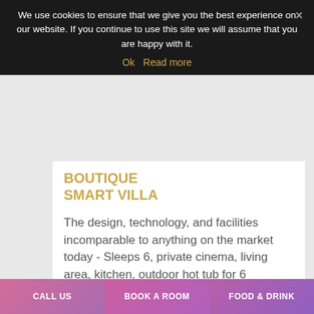We use cookies to ensure that we give you the best experience on our website. If you continue to use this site we will assume that you are happy with it.
Ok   Read more
BOUTIQUE SMART VILLA
The design, technology, and facilities incomparable to anything on the market today - Sleeps 6, private cinema, living area, kitchen, outdoor hot tub for 6
10 Bedrooms Sleeps 15+
D...   ...m
Banners Life   Ac...
CALL US
BOOK A ROOM
FOOD & DRINK